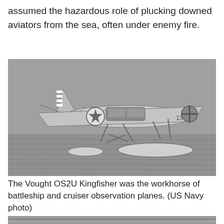assumed the hazardous role of plucking downed aviators from the sea, often under enemy fire.
[Figure (photo): Black and white photograph of a Vought OS2U Kingfisher seaplane in flight, showing US Navy markings including a star insignia on the fuselage, striped tail, and floats beneath the aircraft.]
The Vought OS2U Kingfisher was the workhorse of battleship and cruiser observation planes. (US Navy photo)
[Figure (photo): Black and white photograph showing a partial view of a seaplane or ship on the water, cropped at the bottom of the page.]